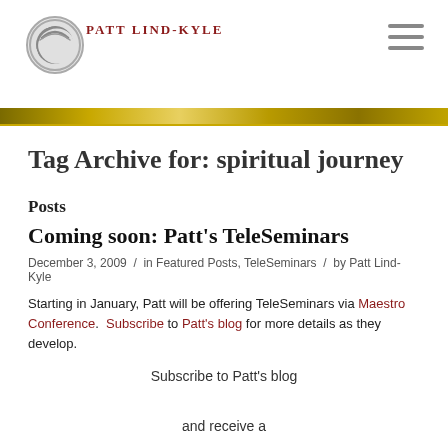Patt Lind-Kyle
Tag Archive for: spiritual journey
Posts
Coming soon: Patt's TeleSeminars
December 3, 2009  /  in Featured Posts, TeleSeminars  /  by Patt Lind-Kyle
Starting in January, Patt will be offering TeleSeminars via Maestro Conference.  Subscribe to Patt's blog for more details as they develop.
Subscribe to Patt's blog

and receive a
[Figure (illustration): Partial illustration of headphones, teal/light blue outline style, cropped at bottom of page]